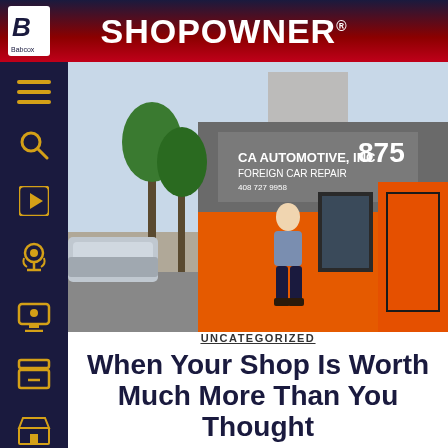SHOPOWNER
[Figure (photo): Exterior of a foreign car repair shop called CA Automotive, Inc. at address 875, with orange-painted walls and a person standing in front of the entrance. Trees and parked cars visible on the street.]
UNCATEGORIZED
When Your Shop Is Worth Much More Than You Thought
Although every sale of a shop in which I am